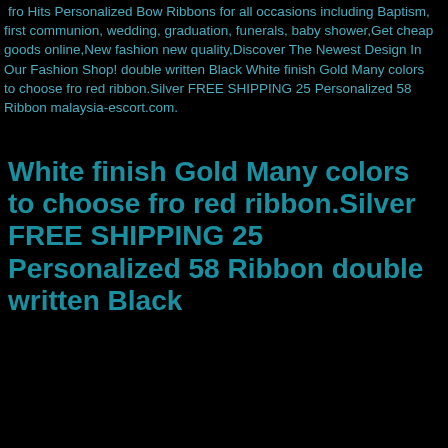fro Hits Personalized Bow Ribbons for all occasions including Baptism, first communion, wedding, graduation, funerals, baby shower,Get cheap goods online,New fashion new quality,Discover The Newest Design In Our Fashion Shop! double written Black White finish Gold Many colors to choose fro red ribbon.Silver FREE SHIPPING 25 Personalized 58 Ribbon malaysia-escort.com.
White finish Gold Many colors to choose fro red ribbon.Silver FREE SHIPPING 25 Personalized 58 Ribbon double written Black
[Figure (infographic): Print Colors chart showing ribbon color options: White, Taupe, Brilliant Pink, Brown, Royal, Teal, Red — each with a decorative letter initial and color name label on a sage green background.]